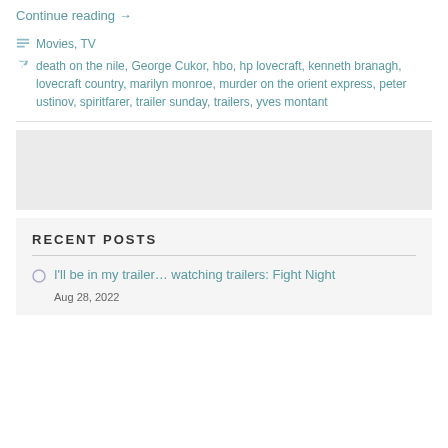Continue reading →
Movies, TV
death on the nile, George Cukor, hbo, hp lovecraft, kenneth branagh, lovecraft country, marilyn monroe, murder on the orient express, peter ustinov, spiritfarer, trailer sunday, trailers, yves montant
RECENT POSTS
I'll be in my trailer… watching trailers: Fight Night
Aug 28, 2022